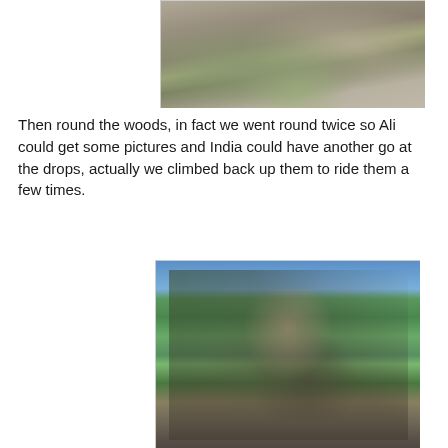[Figure (photo): Partial view of a rocky hillside or trail with patchy grass and stones, outdoor mountain biking terrain.]
Then round the woods, in fact we went round twice so Ali could get some pictures and India could have another go at the drops, actually we climbed back up them to ride them a few times.
[Figure (photo): A female mountain biker wearing a helmet, sunglasses, and blue cycling jersey with a race number, riding a mountain bike on a trail with green trees and blue sky in the background.]